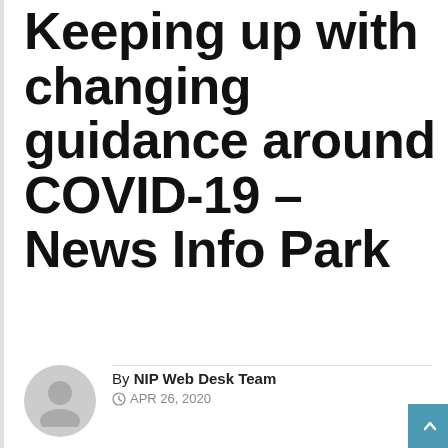Keeping up with changing guidance around COVID-19 – News Info Park
By NIP Web Desk Team
© APR 26, 2020
Oh hey, today is our 500th issue! Thanks to everyone who has been with us from the beginning, and each of you who has joined along the way. We can't imagine a better use of our time during this weird era than bringing you